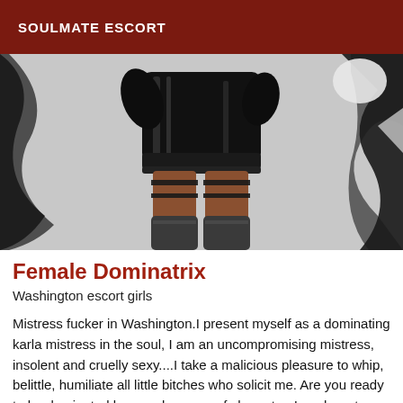SOULMATE ESCORT
[Figure (photo): A person dressed in black leather dominatrix outfit with thigh-high stockings, posed in front of a graffiti-style black and white background.]
Female Dominatrix
Washington escort girls
Mistress fucker in Washington.I present myself as a dominating karla mistress in the soul, I am an uncompromising mistress, insolent and cruelly sexy....I take a malicious pleasure to whip, belittle, humiliate all little bitches who solicit me. Are you ready to be dominated by a real woman of character. I am here to